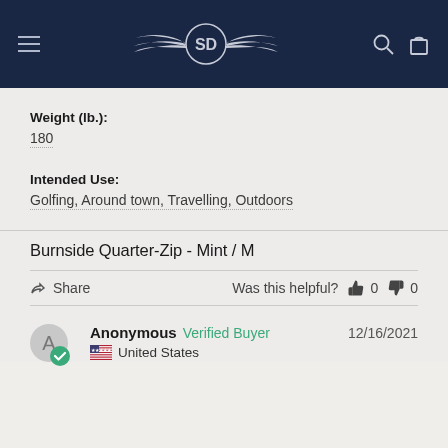SD logo navigation header
Weight (lb.): 180
Intended Use: Golfing, Around town, Travelling, Outdoors
Burnside Quarter-Zip - Mint / M
Share  |  Was this helpful? 0  0
Anonymous  Verified Buyer  12/16/2021  United States